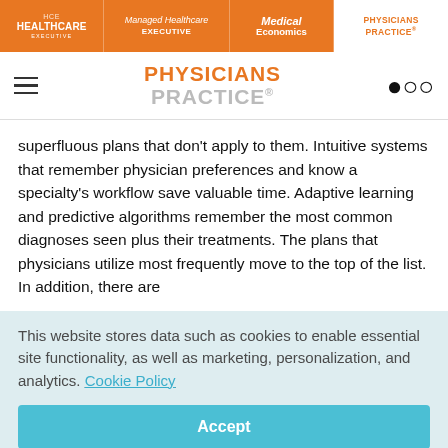HCE HEALTHCARE EXECUTIVE | Managed Healthcare EXECUTIVE | Medical Economics | PHYSICIANS PRACTICE
PHYSICIANS PRACTICE
superfluous plans that don't apply to them. Intuitive systems that remember physician preferences and know a specialty's workflow save valuable time. Adaptive learning and predictive algorithms remember the most common diagnoses seen plus their treatments. The plans that physicians utilize most frequently move to the top of the list. In addition, there are
This website stores data such as cookies to enable essential site functionality, as well as marketing, personalization, and analytics. Cookie Policy
Accept
Deny